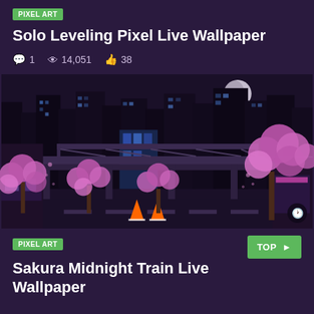Solo Leveling Pixel Live Wallpaper
💬 1  👁 14,051  👍 38
[Figure (illustration): Night city scene with sakura cherry blossom trees, dark skyscrapers, elevated train bridge, neon lights, and a full moon — pixel/anime art style]
PIXEL ART
TOP →
Sakura Midnight Train Live Wallpaper